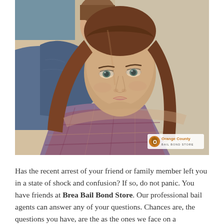[Figure (photo): A young woman with long brown hair wearing a plaid shirt looks directly at the camera, while a young man in a denim jacket is partially visible behind her. An Orange County Bail Bond Store watermark logo appears in the lower right corner of the image.]
Has the recent arrest of your friend or family member left you in a state of shock and confusion? If so, do not panic. You have friends at Brea Bail Bond Store. Our professional bail agents can answer any of your questions. Chances are, the questions you have, are the as the ones we face on a